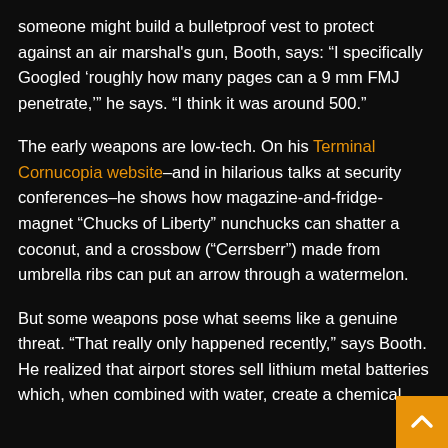someone might build a bulletproof vest to protect against an air marshal's gun, Booth, says: "I specifically Googled 'roughly how many pages can a 9 mm FMJ penetrate,'" he says. "I think it was around 500."
The early weapons are low-tech. On his Terminal Cornucopia website–and in hilarious talks at security conferences–he shows how magazine-and-fridge-magnet "Chucks of Liberty" nunchucks can shatter a coconut, and a crossbow ("Cerrsberr") made from umbrella ribs can put an arrow through a watermelon.
But some weapons pose what seems like a genuine threat. "That really only happened recently," says Booth. He realized that airport stores sell lithium metal batteries which, when combined with water, create a chemical